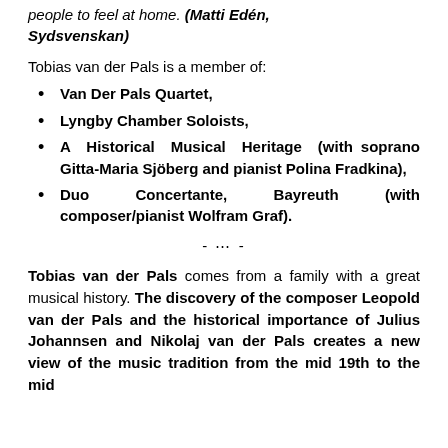people to feel at home. (Matti Edén, Sydsvenskan)
Tobias van der Pals is a member of:
Van Der Pals Quartet,
Lyngby Chamber Soloists,
A Historical Musical Heritage (with soprano Gitta-Maria Sjöberg and pianist Polina Fradkina),
Duo Concertante, Bayreuth (with composer/pianist Wolfram Graf).
- ··· -
Tobias van der Pals comes from a family with a great musical history. The discovery of the composer Leopold van der Pals and the historical importance of Julius Johannsen and Nikolaj van der Pals creates a new view of the music tradition from the mid 19th to the mid